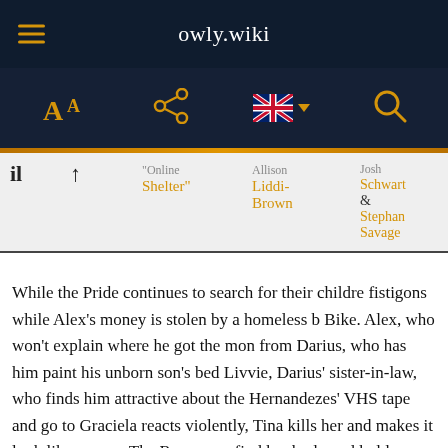owly.wiki
|  |  | Online Shelter" | Allison Liddi-Brown | Josh Schwartz & Stephanie Savage |
While the Pride continues to search for their childre fistigons while Alex's money is stolen by a homeless b Bike. Alex, who won't explain where he got the mon from Darius, who has him paint his unborn son's bed Livvie, Darius' sister-in-law, who finds him attractive about the Hernandezes' VHS tape and go to Graciela reacts violently, Tina kills her and makes it look like causes. The Runaways find her body and hold a men homeless gathering. Jonah tells an unconscious Victo